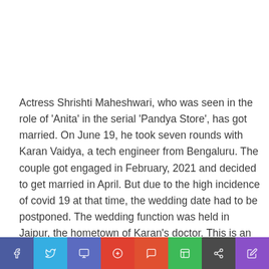Actress Shrishti Maheshwari, who was seen in the role of 'Anita' in the serial 'Pandya Store', has got married. On June 19, he took seven rounds with Karan Vaidya, a tech engineer from Bengaluru. The couple got engaged in February, 2021 and decided to get married in April. But due to the high incidence of covid 19 at that time, the wedding date had to be postponed. The wedding function was held in Jaipur, the hometown of Karan's doctor. This is an arranged marriage for the actress. Srishti Maheshwari shared
Share bar with social media icons